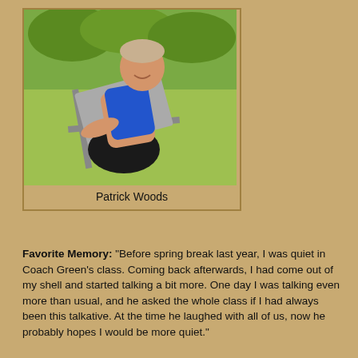[Figure (photo): Young person in a blue athletic tank top sitting reclined in a folding chair outdoors on grass, smiling]
Patrick Woods
Favorite Memory: “Before spring break last year, I was quiet in Coach Green’s class. Coming back afterwards, I had come out of my shell and started talking a bit more. One day I was talking even more than usual, and he asked the whole class if I had always been this talkative. At the time he laughed with all of us, now he probably hopes I would be more quiet.”